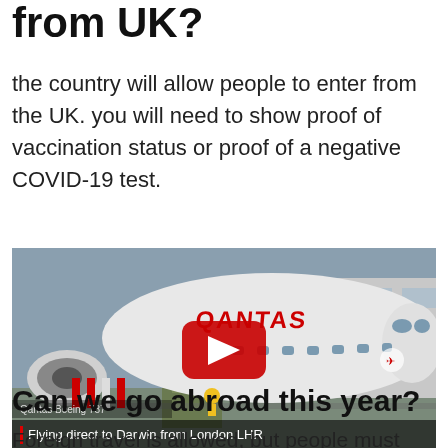from UK?
the country will allow people to enter from the UK. you will need to show proof of vaccination status or proof of a negative COVID-19 test.
[Figure (screenshot): YouTube video thumbnail showing a Qantas Boeing 787 aircraft at an airport gate. A red YouTube play button is overlaid in the center. Caption reads 'Qantas Boeing 787' above and 'Flying direct to Darwin from London LHR' below.]
Can we go abroad this year?
Foreign travel is allowed, but people must